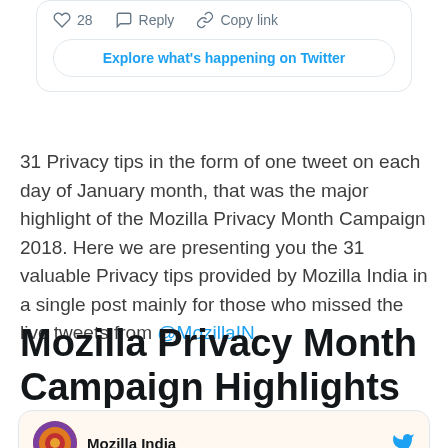[Figure (screenshot): Twitter card with action bar showing heart icon with 28 likes, Reply button, Copy link button, and an 'Explore what's happening on Twitter' button]
31 Privacy tips in the form of one tweet on each day of January month, that was the major highlight of the Mozilla Privacy Month Campaign 2018. Here we are presenting you the 31 valuable Privacy tips provided by Mozilla India in a single post mainly for those who missed the live tweets from @MozillaIN.
Mozilla Privacy Month Campaign Highlights
[Figure (screenshot): Bottom portion of a Twitter card showing Mozilla India account with avatar and Twitter bird icon]